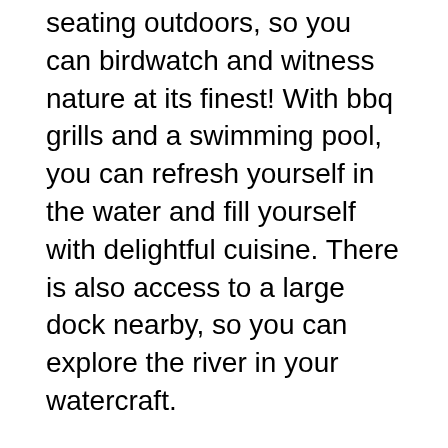seating outdoors, so you can birdwatch and witness nature at its finest! With bbq grills and a swimming pool, you can refresh yourself in the water and fill yourself with delightful cuisine. There is also access to a large dock nearby, so you can explore the river in your watercraft.
The treehouse is only a few miles away from various attractions such as Schlitterbahn Waterpark, Gruene & Gruene Hall, Floating River, shops, restaurants and wineries. So, you will never get bored with all the sightseeing nearby. The treehouse can host